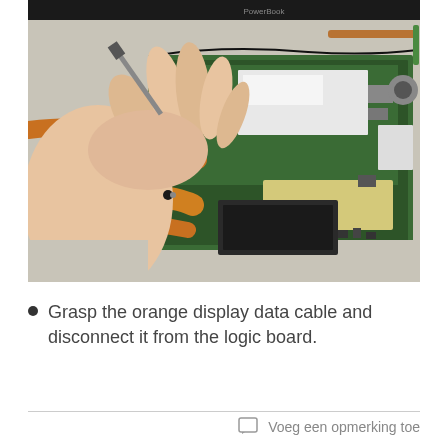[Figure (photo): A hand grasping the orange flex display data cable connector on a PowerBook logic board (green PCB), with orange ribbon cables visible and internal components including chips, connectors, and a black hard drive visible.]
Grasp the orange display data cable and disconnect it from the logic board.
Voeg een opmerking toe